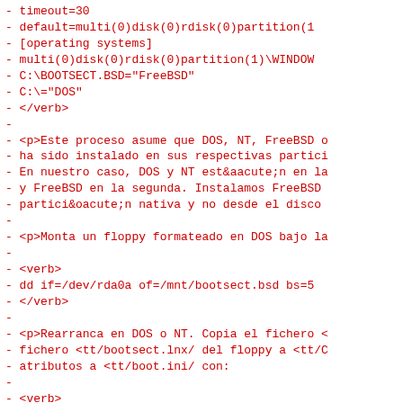-           timeout=30
-           default=multi(0)disk(0)rdisk(0)partition(1
-           [operating systems]
-           multi(0)disk(0)rdisk(0)partition(1)\WINDOW
-           C:\BOOTSECT.BSD="FreeBSD"
-           C:\="DOS"
-         </verb>
-
-       <p>Este proceso asume que DOS, NT, FreeBSD o
-       ha sido instalado en sus respectivas partici
-       En nuestro caso, DOS y NT est&aacute;n en la
-       y FreeBSD en la segunda. Instalamos FreeBSD
-       partici&oacute;n nativa y no desde el disco
-
-       <p>Monta un floppy formateado en DOS bajo la
-
-         <verb>
-           dd if=/dev/rda0a of=/mnt/bootsect.bsd bs=5
-         </verb>
-
-       <p>Rearranca en DOS o NT. Copia el fichero <
-       fichero <tt/bootsect.lnx/ del floppy a <tt/C
-       atributos a <tt/boot.ini/ con:
-
-         <verb>
-           attrib -s -r c:\boot.ini
-         </verb>
-
-       <p>Edita y a&ntilde;ade las l&iacute;neas ap
-       anteriormente de ejemplo, y vuelve a poner l